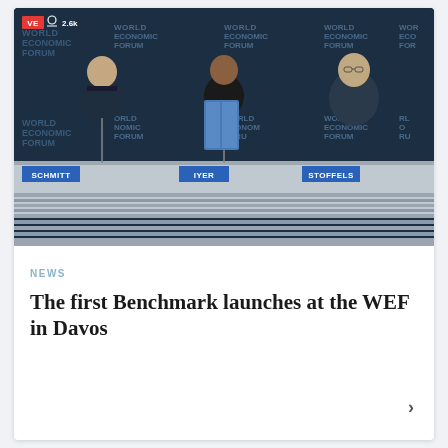[Figure (photo): Live stream screenshot of a World Economic Forum panel in Davos. Three panelists (SCHMITT, IYER, STOFFELS) are seated at a table with WEF logos repeated on the backdrop. A live badge and viewer count of 2.6k are visible in the top-left corner.]
NEWS
The first Benchmark launches at the WEF in Davos